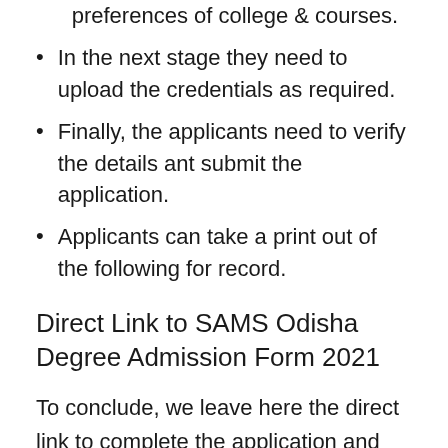preferences of college & courses.
In the next stage they need to upload the credentials as required.
Finally, the applicants need to verify the details ant submit the application.
Applicants can take a print out of the following for record.
Direct Link to SAMS Odisha Degree Admission Form 2021
To conclude, we leave here the direct link to complete the application and also the online application link shared for the interested